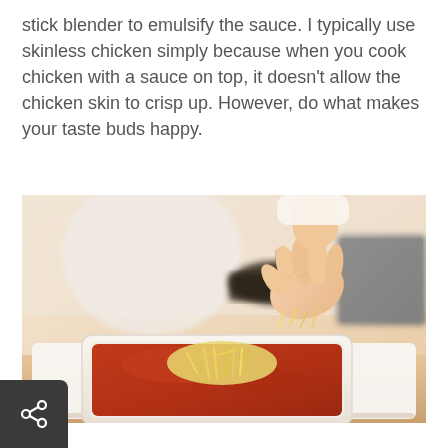stick blender to emulsify the sauce. I typically use skinless chicken simply because when you cook chicken with a sauce on top, it doesn't allow the chicken skin to crisp up. However, do what makes your taste buds happy.
[Figure (photo): A hand sprinkling grated cheese over a red tomato sauce dish in a white baking dish, placed on a white cutting board on a wooden surface. In the background is a small dark bowl with a wooden spoon and a metal appliance.]